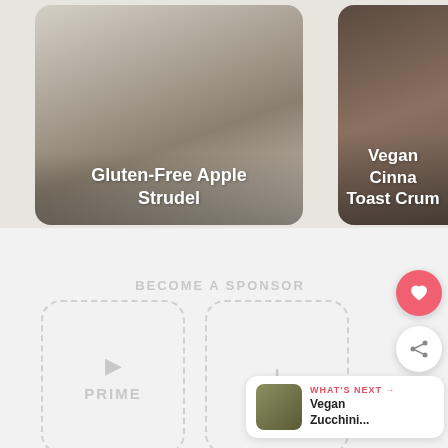[Figure (photo): Food card showing Gluten-Free Apple Strudel with apple and powdered sugar on top]
Gluten-Free Apple Strudel
[Figure (photo): Food card showing Vegan Cinnamon Toast Crumble on a plate (partially visible)]
Vegan Cinna... Toast Crum...
BECOME A SPONSOR
[Figure (infographic): Two dashed-border sponsor placeholder boxes: one labeled PRIME with a thumbnail icon, one with a plus sign]
WHAT'S NEXT → Vegan Zucchini...